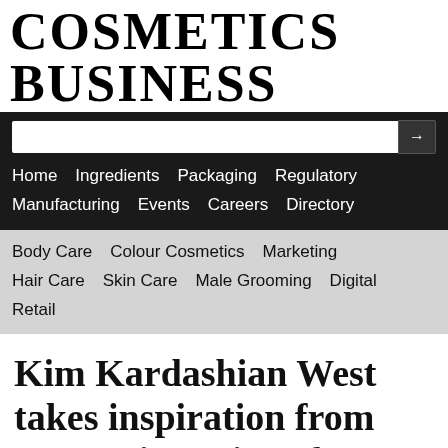COSMETICS BUSINESS
Home  Ingredients  Packaging  Regulatory  Manufacturing  Events  Careers  Directory
Body Care  Colour Cosmetics  Marketing  Hair Care  Skin Care  Male Grooming  Digital  Retail
Kim Kardashian West takes inspiration from mountain regions for new palette
By Becky Bargh    26-Jun-2020